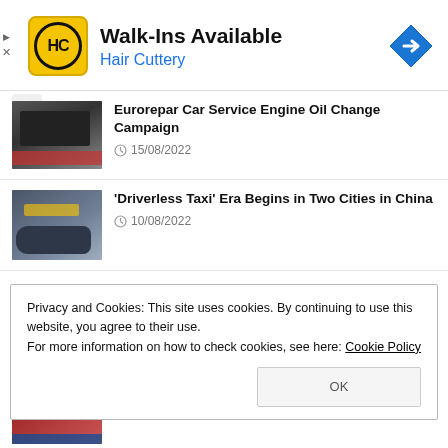[Figure (screenshot): Hair Cuttery advertisement banner with yellow HC logo, text 'Walk-Ins Available' and 'Hair Cuttery', and a blue navigation diamond icon]
Eurorepar Car Service Engine Oil Change Campaign
15/08/2022
'Driverless Taxi' Era Begins in Two Cities in China
10/08/2022
Privacy and Cookies: This site uses cookies. By continuing to use this website, you agree to their use.
For more information on how to check cookies, see here: Cookie Policy
TEKNOFEST Black Sea